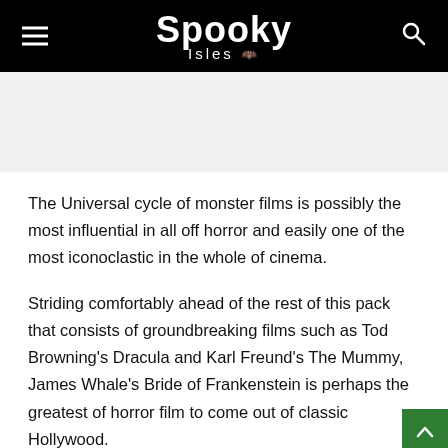Spooky Isles
The Universal cycle of monster films is possibly the most influential in all off horror and easily one of the most iconoclastic in the whole of cinema.
Striding comfortably ahead of the rest of this pack that consists of groundbreaking films such as Tod Browning's Dracula and Karl Freund's The Mummy, James Whale's Bride of Frankenstein is perhaps the greatest of horror film to come out of classic Hollywood.
There's something so irresistibly witty about Whale's films in